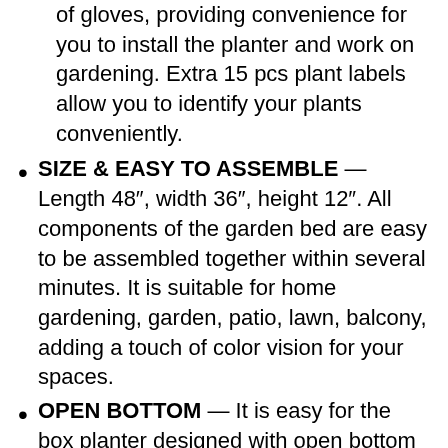of gloves, providing convenience for you to install the planter and work on gardening. Extra 15 pcs plant labels allow you to identify your plants conveniently.
SIZE & EASY TO ASSEMBLE — Length 48″, width 36″, height 12″. All components of the garden bed are easy to be assembled together within several minutes. It is suitable for home gardening, garden, patio, lawn, balcony, adding a touch of color vision for your spaces.
OPEN BOTTOM — It is easy for the box planter designed with open bottom to drain water and absorb nutrition. Sitting on the ground, the garden bed help the plants keep away from the